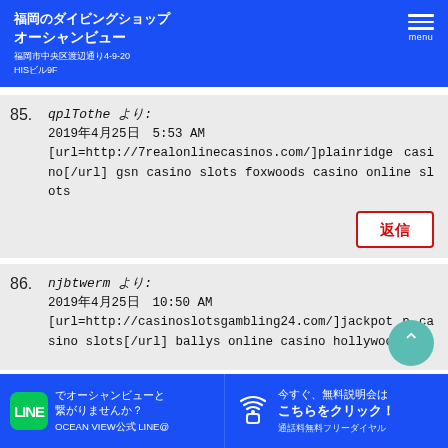福岡のダイビングショップ オーシャンビュー 福岡市中央区渡辺通り4-9-20 HISビル9F
85. qplTothe より:
2019年4月25日 5:53 AM
[url=http://7realonlinecasinos.com/]plainridge casino[/url] gsn casino slots foxwoods casino online slots
86. njbtwerm より:
2019年4月25日 10:50 AM
[url=http://casinoslotsgambling24.com/]jackpot p casino slots[/url] ballys online casino hollywood
LINEでオーシャンビューと繋がりませんか？ OCEAN VIEW公式 LINE@ | 今すぐ、無料説明会はこちらをクリック！ 通話料無料フリーダイヤル